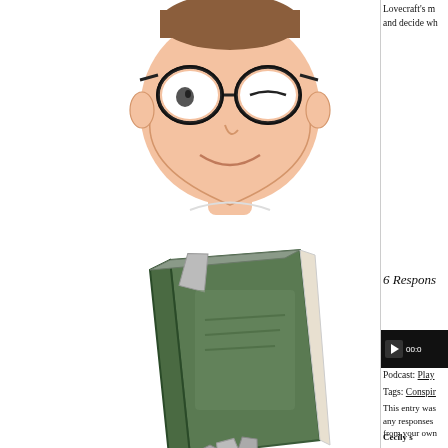[Figure (illustration): Cartoon illustration of a man with glasses, brown hair, smiling, wearing a white shirt]
[Figure (illustration): Cartoon illustration of a green book with bookmarks/ribbons sticking out]
Lovecraft's ... and decide wh...
[Figure (screenshot): Audio podcast player widget with play button and timestamp 00:0...]
Podcast: Play ...
Tags: Conspir...
This entry was... any responses... from your own...
6 Respons...
Cecily s...